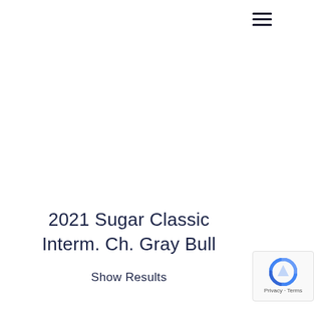[Figure (other): Hamburger menu icon (three horizontal lines) in top right area]
2021 Sugar Classic Interm. Ch. Gray Bull
Show Results
[Figure (other): Google reCAPTCHA badge in bottom right corner with logo and Privacy - Terms text]